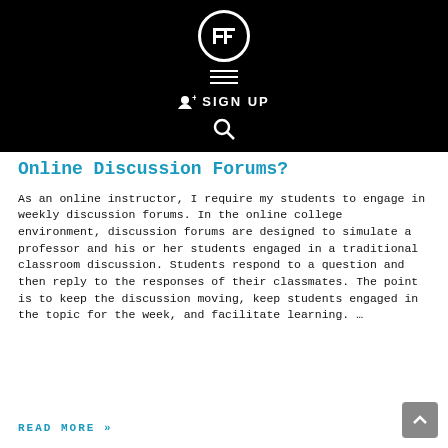FF — SIGN UP
Online Discussion Forums?
As an online instructor, I require my students to engage in weekly discussion forums. In the online college environment, discussion forums are designed to simulate a professor and his or her students engaged in a traditional classroom discussion. Students respond to a question and then reply to the responses of their classmates. The point is to keep the discussion moving, keep students engaged in the topic for the week, and facilitate learning. …
READ MORE »